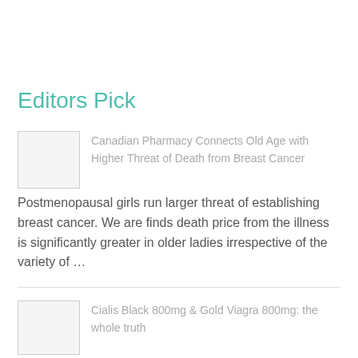Editors Pick
Canadian Pharmacy Connects Old Age with Higher Threat of Death from Breast Cancer
Postmenopausal girls run larger threat of establishing breast cancer. We are finds death price from the illness is significantly greater in older ladies irrespective of the variety of …
Cialis Black 800mg & Gold Viagra 800mg: the whole truth
Neither Cialis Black nor Gold Viagra carry actual 800 mg of an active ingredient Despite their labelled dosage, neither Cialis Black nor Gold Viagra contains 800 …